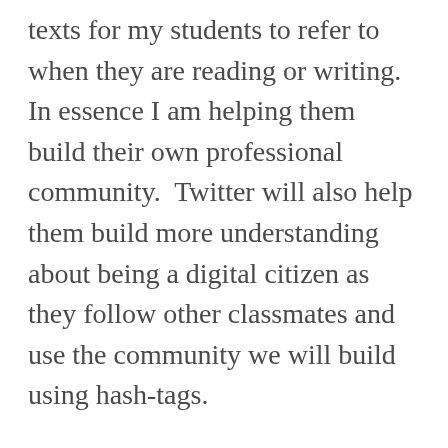texts for my students to refer to when they are reading or writing.  In essence I am helping them build their own professional community.  Twitter will also help them build more understanding about being a digital citizen as they follow other classmates and use the community we will build using hash-tags.
Our lessons on Twitter runs about two days.  By the end of the second day I have the students do a paper tweet in their journal practicing the 140 characters that Twitter has for...